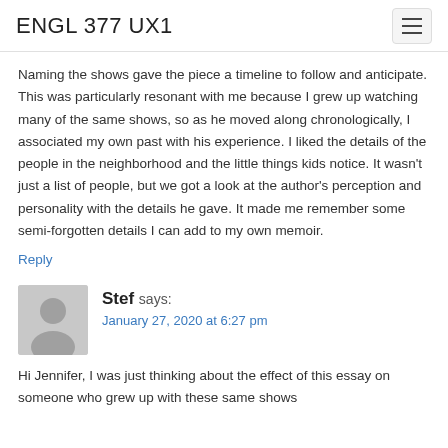ENGL 377 UX1
Naming the shows gave the piece a timeline to follow and anticipate. This was particularly resonant with me because I grew up watching many of the same shows, so as he moved along chronologically, I associated my own past with his experience. I liked the details of the people in the neighborhood and the little things kids notice. It wasn't just a list of people, but we got a look at the author's perception and personality with the details he gave. It made me remember some semi-forgotten details I can add to my own memoir.
Reply
Stef says:
January 27, 2020 at 6:27 pm
Hi Jennifer, I was just thinking about the effect of this essay on someone who grew up with these same shows